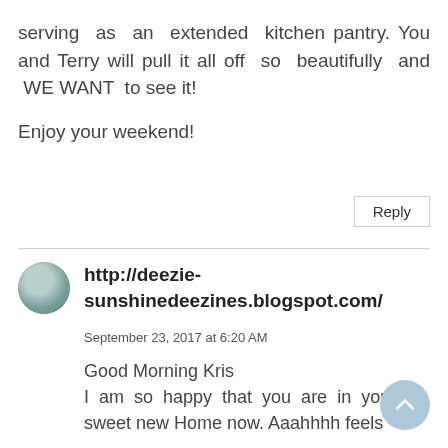serving as an extended kitchen pantry. You and Terry will pull it all off so beautifully and WE WANT to see it!
Enjoy your weekend!
Reply
http://deezie-sunshinedeezines.blogspot.com/
September 23, 2017 at 6:20 AM
Good Morning Kris
I am so happy that you are in your sweet new Home now. Aaahhhh feels